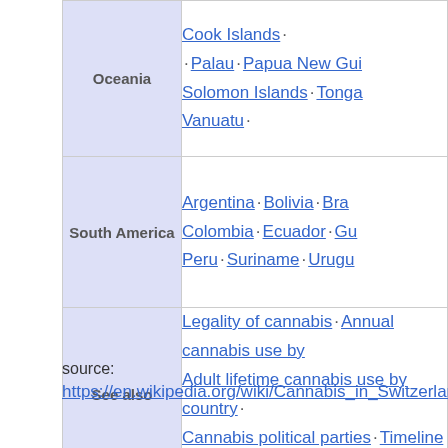| Region | Countries |
| --- | --- |
| Oceania | Cook Islands · Palau · Papua New Guinea · Solomon Islands · Tonga · Vanuatu · |
| South America | Argentina · Bolivia · Brazil · Colombia · Ecuador · Guyana · Peru · Suriname · Uruguay |
| See also | Legality of cannabis · Annual cannabis use by country · Adult lifetime cannabis use by country · Cannabis political parties · Timeline of cannabis |
source:
https://en.wikipedia.org/wiki/Cannabis_in_Switzerland